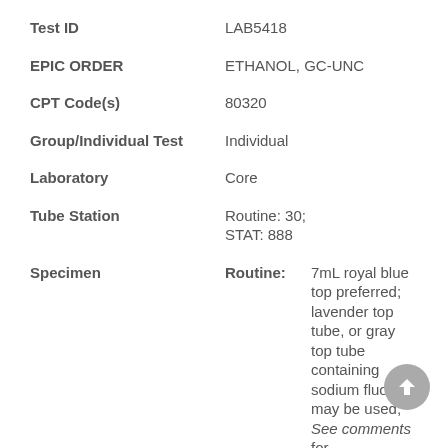Test ID: LAB5418
EPIC ORDER: ETHANOL, GC-UNC
CPT Code(s): 80320
Group/Individual Test: Individual
Laboratory: Core
Tube Station: Routine: 30; STAT: 888
Specimen: Routine: 7mL royal blue top preferred; lavender top tube, or gray top tube containing sodium fluoride may be used; See comments for